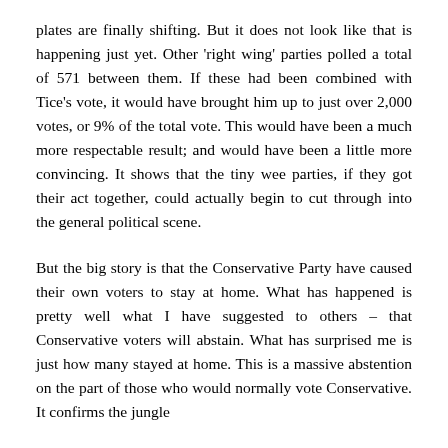plates are finally shifting. But it does not look like that is happening just yet. Other 'right wing' parties polled a total of 571 between them. If these had been combined with Tice's vote, it would have brought him up to just over 2,000 votes, or 9% of the total vote. This would have been a much more respectable result; and would have been a little more convincing. It shows that the tiny wee parties, if they got their act together, could actually begin to cut through into the general political scene.
But the big story is that the Conservative Party have caused their own voters to stay at home. What has happened is pretty well what I have suggested to others – that Conservative voters will abstain. What has surprised me is just how many stayed at home. This is a massive abstention on the part of those who would normally vote Conservative. It confirms the jungle